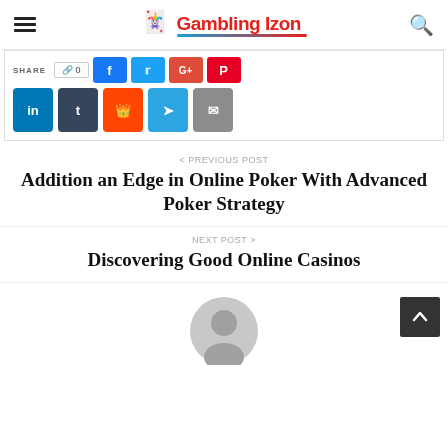Gambling Izon
[Figure (screenshot): Social share buttons bar with SHARE label, count badge showing 0, and colored icon buttons for Facebook, Twitter, Google+, Pinterest in row 1; LinkedIn, Tumblr, Reddit, Telegram, Email in row 2]
< PREVIOUS POST
Addition an Edge in Online Poker With Advanced Poker Strategy
NEXT POST >
Discovering Good Online Casinos
[Figure (illustration): Generic grey avatar/user profile icon circle with person silhouette]